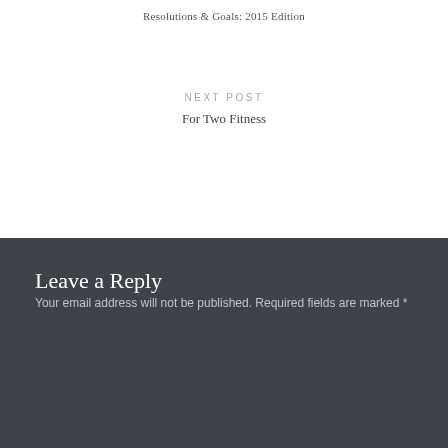Resolutions & Goals: 2015 Edition
NEXT POST
For Two Fitness
Leave a Reply
Your email address will not be published. Required fields are marked *